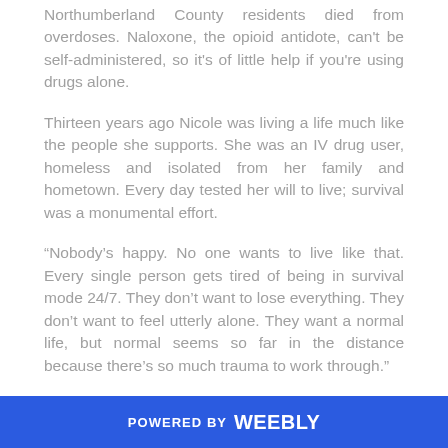Northumberland County residents died from overdoses. Naloxone, the opioid antidote, can't be self-administered, so it's of little help if you're using drugs alone.
Thirteen years ago Nicole was living a life much like the people she supports. She was an IV drug user, homeless and isolated from her family and hometown. Every day tested her will to live; survival was a monumental effort.
“Nobody’s happy. No one wants to live like that. Every single person gets tired of being in survival mode 24/7. They don’t want to lose everything. They don’t want to feel utterly alone. They want a normal life, but normal seems so far in the distance because there’s so much trauma to work through.”
POWERED BY weebly